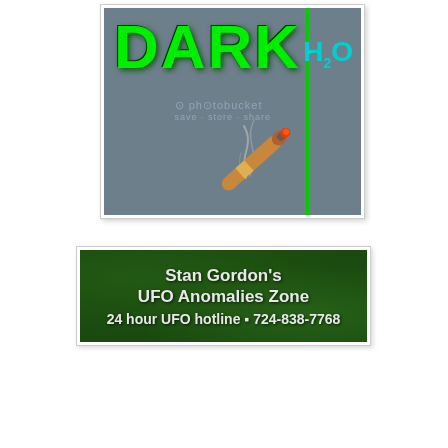[Figure (illustration): Dark-themed graphic with large green block letters spelling 'DARK', a lit cigar with smoke, a vertical green line, and 'H2O' in teal text on a grey-blue background. Photobucket watermark overlay.]
[Figure (illustration): Green textured banner reading 'Stan Gordon's UFO Anomalies Zone' and '24 hour UFO hotline • 724-838-7768' in bold white/light grey text.]